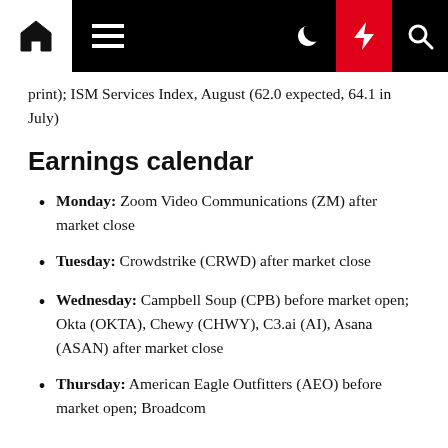Navigation bar with home, menu, moon, bolt, and search icons
print); ISM Services Index, August (62.0 expected, 64.1 in July)
Earnings calendar
Monday: Zoom Video Communications (ZM) after market close
Tuesday: Crowdstrike (CRWD) after market close
Wednesday: Campbell Soup (CPB) before market open; Okta (OKTA), Chewy (CHWY), C3.ai (AI), Asana (ASAN) after market close
Thursday: American Eagle Outfitters (AEO) before market open; Broadcom